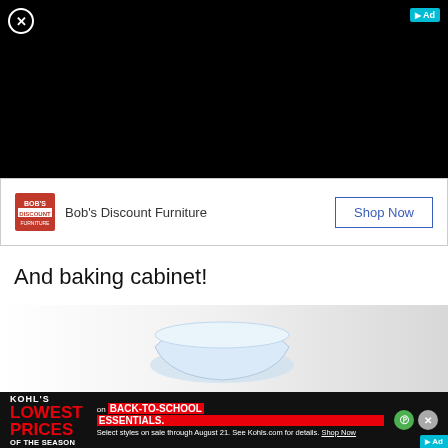[Figure (screenshot): Black video/media area with close button (circled X) top-left and a teal ad indicator top-right]
[Figure (screenshot): Bob's Discount Furniture advertisement banner with logo, name, and Shop Now button]
And baking cabinet!
[Figure (photo): Photo of a white mixing bowl or similar kitchenware on a light background]
[Figure (screenshot): Kohl's advertisement: LOWEST PRICES OF THE SEASON on BACK-TO-SCHOOL ESSENTIALS. Select styles on sale through August 21. See Kohls.com for details. Shop Now]